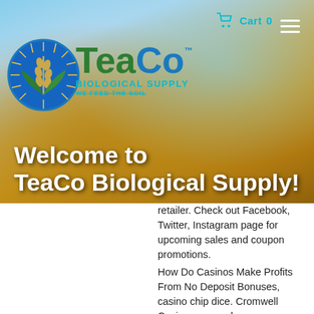[Figure (screenshot): Website hero banner for TeaCo Biological Supply showing a wheat field background with blue sky, company logo, cart icon, hamburger menu, and Welcome to TeaCo Biological Supply! heading text]
retailer. Check out Facebook, Twitter, Instagram page for upcoming sales and coupon promotions. How Do Casinos Make Profits From No Deposit Bonuses, casino chip dice. Cromwell Casino prepared an awesome no deposit offer for its players. Create an account and you will receive $30 totally free, casino chip dice. You shall be required to claim your exclusive code to